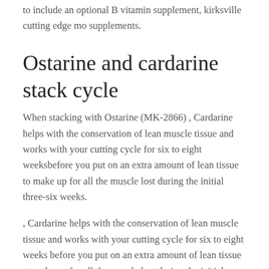to include an optional B vitamin supplement, kirksville cutting edge mo supplements.
Ostarine and cardarine stack cycle
When stacking with Ostarine (MK-2866) , Cardarine helps with the conservation of lean muscle tissue and works with your cutting cycle for six to eight weeksbefore you put on an extra amount of lean tissue to make up for all the muscle lost during the initial three-six weeks.
, Cardarine helps with the conservation of lean muscle tissue and works with your cutting cycle for six to eight weeks before you put on an extra amount of lean tissue to make up for all the muscle lost during the initial three-six weeks, cycle stack ostarine and cardarine. Take Cardarine to promote